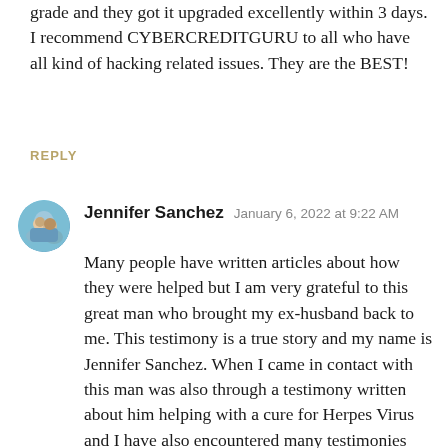grade and they got it upgraded excellently within 3 days. I recommend CYBERCREDITGURU to all who have all kind of hacking related issues. They are the BEST!
REPLY
Jennifer Sanchez  January 6, 2022 at 9:22 AM
Many people have written articles about how they were helped but I am very grateful to this great man who brought my ex-husband back to me. This testimony is a true story and my name is Jennifer Sanchez. When I came in contact with this man was also through a testimony written about him helping with a cure for Herpes Virus and I have also encountered many testimonies about how he has been helping others with their life. To get back with an ex is one of the most innermost feelings many people would love to experience especially as those memories with our ex always cloud our mind when someone else does some of those things our ex used to do. I was a single parent of two boys for almost 6 years and though my ex-husband was not staying with me and the